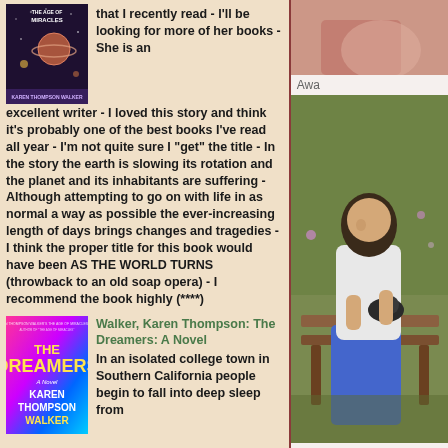[Figure (photo): Book cover of 'The Age of Miracles' by Karen Thompson Walker, dark purple background with stars and planets]
that I recently read - I'll be looking for more of her books - She is an excellent writer - I loved this story and think it's probably one of the best books I've read all year - I'm not quite sure I "get" the title - In the story the earth is slowing its rotation and the planet and its inhabitants are suffering - Although attempting to go on with life in as normal a way as possible the ever-increasing length of days brings changes and tragedies - I think the proper title for this book would have been AS THE WORLD TURNS (throwback to an old soap opera) - I recommend the book highly (****)
[Figure (photo): Book cover of 'The Dreamers: A Novel' by Karen Thompson Walker, colorful gradient background]
Walker, Karen Thompson: The Dreamers: A Novel
In an isolated college town in Southern California people begin to fall into deep sleep from
[Figure (photo): Right column top: partial image of a person, background decorative]
Awa
[Figure (photo): Right column: photo of a young person sitting on a bench holding a small animal, outdoors in a garden]